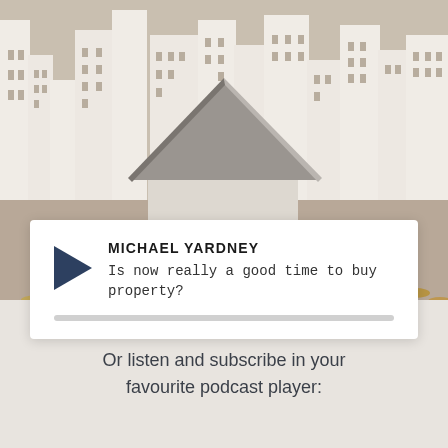[Figure (photo): Photograph of a small cardboard house model in center with cityscape silhouette background and coins scattered in the foreground, warm beige tones]
MICHAEL YARDNEY
Is now really a good time to buy property?
Or listen and subscribe in your favourite podcast player: